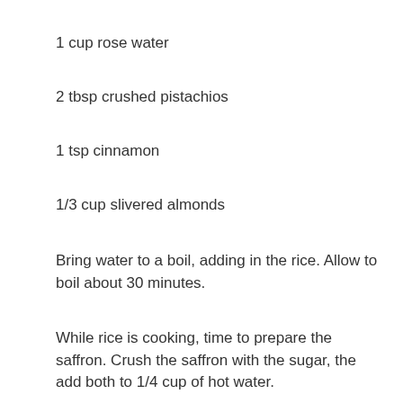1 cup rose water
2 tbsp crushed pistachios
1 tsp cinnamon
1/3 cup slivered almonds
Bring water to a boil, adding in the rice. Allow to boil about 30 minutes.
While rice is cooking, time to prepare the saffron. Crush the saffron with the sugar, the add both to 1/4 cup of hot water.
Once the rice has been cooked, add the sauces t...